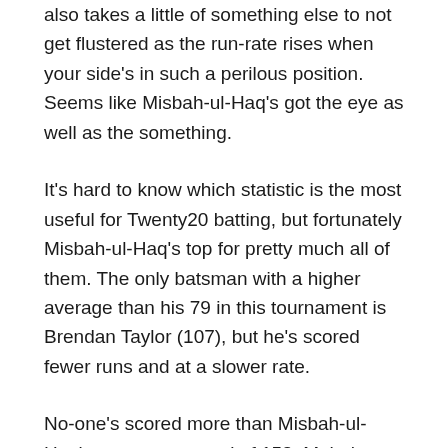also takes a little of something else to not get flustered as the run-rate rises when your side's in such a perilous position. Seems like Misbah-ul-Haq's got the eye as well as the something.
It's hard to know which statistic is the most useful for Twenty20 batting, but fortunately Misbah-ul-Haq's top for pretty much all of them. The only batsman with a higher average than his 79 in this tournament is Brendan Taylor (107), but he's scored fewer runs and at a slower rate.
No-one's scored more than Misbah-ul-Haq's tournament total of 158. Mahela Jayawardene has also hit 158 runs, but he's scored them at a rate of 154.9 runs per hundred balls faced. Misbah-ul-Haq